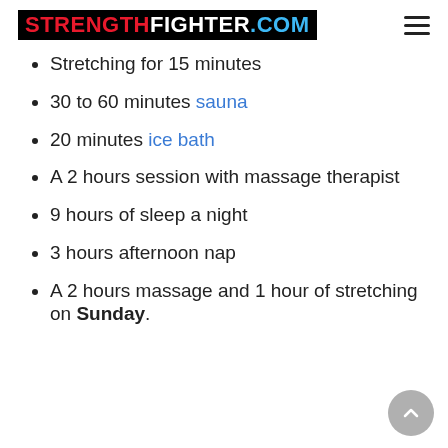STRENGTHFIGHTER.COM
Stretching for 15 minutes
30 to 60 minutes sauna
20 minutes ice bath
A 2 hours session with massage therapist
9 hours of sleep a night
3 hours afternoon nap
A 2 hours massage and 1 hour of stretching on Sunday.